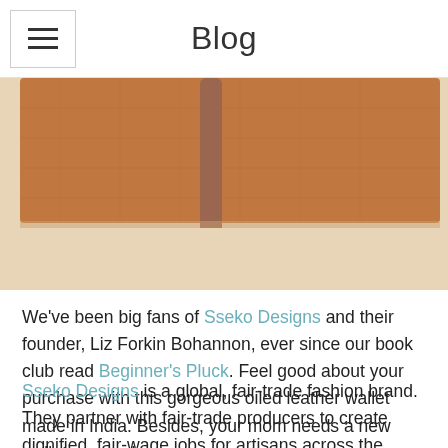Blog
[Figure (photo): Close-up photo of a brown oiled leather wallet on a beige background, with a dark wooden stick or clasp across the top]
We've been big fans of Sseko Designs and their founder, Liz Forkin Bohannon, ever since our book club read Beginner's Pluck. Feel good about your purchase with this gorgeous oiled leather wallet made in India. Besides, your mom needs a new wallet anyway!
Sseko Designs is a global, fair-trade fashion brand. They partner with fair-trade producers to create dignified, fair-wage jobs for artisans across the globe. Currently, less than 2% of the people who make our fashion earn a living wage, and they are